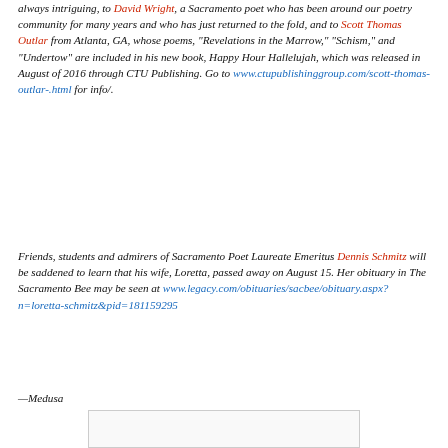always intriguing, to David Wright, a Sacramento poet who has been around our poetry community for many years and who has just returned to the fold, and to Scott Thomas Outlar from Atlanta, GA, whose poems, "Revelations in the Marrow," "Schism," and "Undertow" are included in his new book, Happy Hour Hallelujah, which was released in August of 2016 through CTU Publishing. Go to www.ctupublishinggroup.com/scott-thomas-outlar-.html for info/.
Friends, students and admirers of Sacramento Poet Laureate Emeritus Dennis Schmitz will be saddened to learn that his wife, Loretta, passed away on August 15. Her obituary in The Sacramento Bee may be seen at www.legacy.com/obituaries/sacbee/obituary.aspx?n=loretta-schmitz&pid=181159295
—Medusa